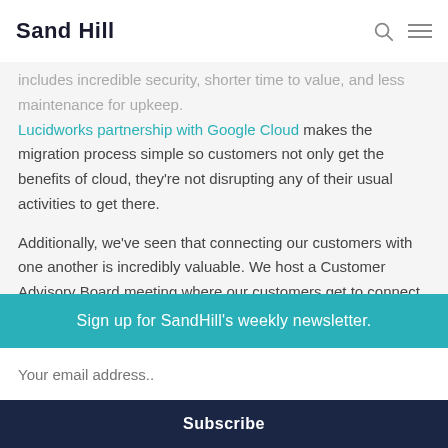Sand Hill
includes incredible security, shorter time to value, and less maintenance for upkeep. Lucidworks partnership with Google Cloud makes the migration process simple so customers not only get the benefits of cloud, they're not disrupting any of their usual activities to get there.
Additionally, we've seen that connecting our customers with one another is incredibly valuable. We host a Customer Advisory Board meeting where our customers get to connect
Sign up for SandHill's weekly newsletter.
Your email address..
Subscribe